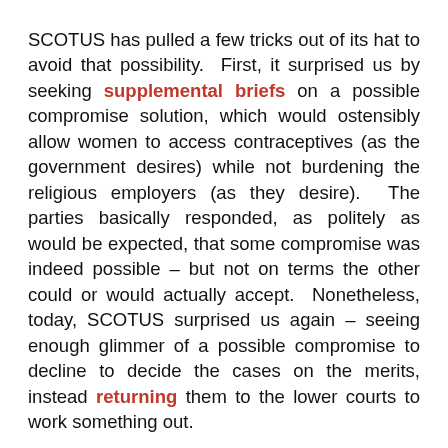SCOTUS has pulled a few tricks out of its hat to avoid that possibility.  First, it surprised us by seeking supplemental briefs on a possible compromise solution, which would ostensibly allow women to access contraceptives (as the government desires) while not burdening the religious employers (as they desire).  The parties basically responded, as politely as would be expected, that some compromise was indeed possible – but not on terms the other could or would actually accept.  Nonetheless, today, SCOTUS surprised us again – seeing enough glimmer of a possible compromise to decline to decide the cases on the merits, instead returning them to the lower courts to work something out.

So what does that mean?  In my view, count it as a win for the government.  Eight out of nine circuit courts ruled in the government's favor below, holding that the accommodation it had already offered did not substantially burden employers' religious beliefs – which